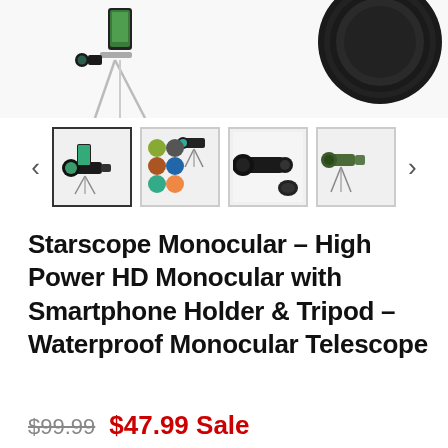[Figure (photo): Product photo showing monocular with tripod and smartphone holder on left, and lens cap on right, white background]
[Figure (photo): Thumbnail gallery row with 4 product thumbnails and left/right navigation arrows. First thumbnail selected with border.]
Starscope Monocular – High Power HD Monocular with Smartphone Holder & Tripod – Waterproof Monocular Telescope
$99.99  $47.99 Sale